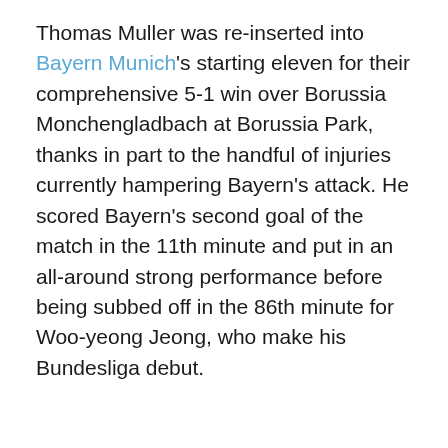Thomas Muller was re-inserted into Bayern Munich's starting eleven for their comprehensive 5-1 win over Borussia Monchengladbach at Borussia Park, thanks in part to the handful of injuries currently hampering Bayern's attack. He scored Bayern's second goal of the match in the 11th minute and put in an all-around strong performance before being subbed off in the 86th minute for Woo-yeong Jeong, who make his Bundesliga debut.